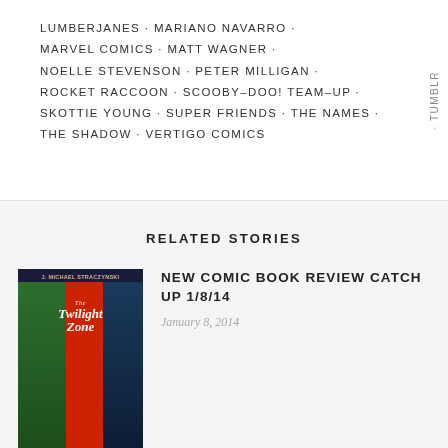LUMBERJANES · MARIANO NAVARRO · MARVEL COMICS · MATT WAGNER · NOELLE STEVENSON · PETER MILLIGAN · ROCKET RACCOON · SCOOBY-DOO! TEAM-UP · SKOTTIE YOUNG · SUPER FRIENDS · THE NAMES · THE SHADOW · VERTIGO COMICS
RELATED STORIES
[Figure (illustration): Book cover of The Twilight Zone by J. Michael Straczynski with sci-fi/horror artwork showing figures in doorways with green, red and blue panels]
NEW COMIC BOOK REVIEW CATCH UP 1/8/14
January 8, 2014